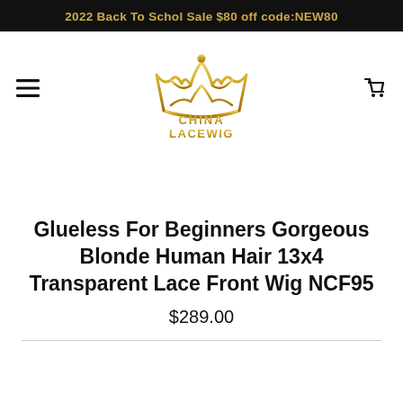2022 Back To Schol Sale $80 off code:NEW80
[Figure (logo): China Lacewig crown logo in gold with text CHINA LACEWIG]
Glueless For Beginners Gorgeous Blonde Human Hair 13x4 Transparent Lace Front Wig NCF95
$289.00